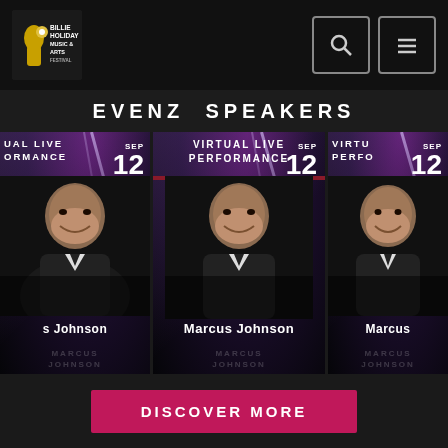Billie Holiday Music & Arts Festival
EVENZ SPEAKERS
[Figure (photo): Three event cards side by side showing 'VIRTUAL LIVE PERFORMANCE SEP 12 - Marcus Johnson' promotional cards with dark purple/blue cosmic background and performer photo]
DISCOVER MORE